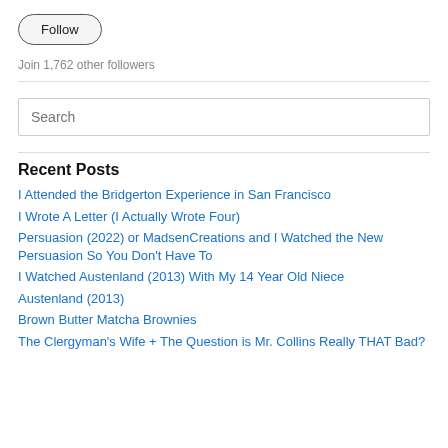[Figure (other): Follow button — pill-shaped button with 'Follow' text]
Join 1,762 other followers
[Figure (other): Search input field with placeholder text 'Search']
Recent Posts
I Attended the Bridgerton Experience in San Francisco
I Wrote A Letter (I Actually Wrote Four)
Persuasion (2022) or MadsenCreations and I Watched the New Persuasion So You Don't Have To
I Watched Austenland (2013) With My 14 Year Old Niece
Austenland (2013)
Brown Butter Matcha Brownies
The Clergyman's Wife + The Question is Mr. Collins Really THAT Bad?